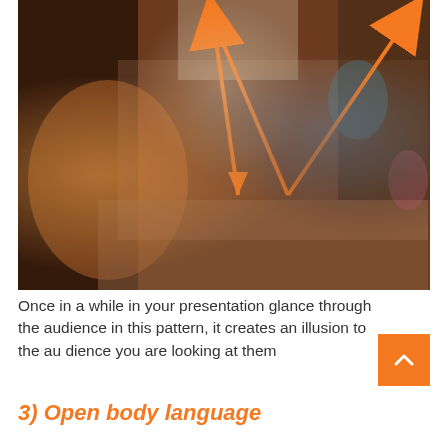[Figure (photo): Photo of a presenter speaking to a seated audience in a casual setting. Orange arrows overlaid on the image form a zigzag/triangle pattern indicating a scanning gaze pattern across the audience.]
Once in a while in your presentation glance through the audience in this pattern, it creates an illusion to the audience you are looking at them
3) Open body language